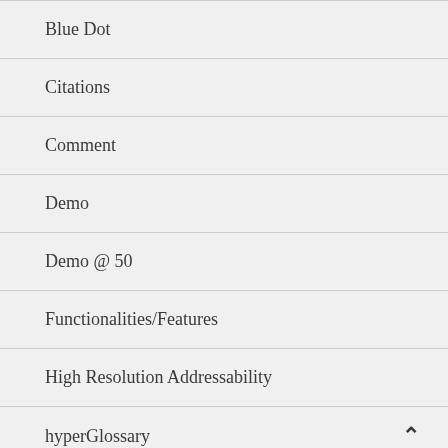Blue Dot
Citations
Comment
Demo
Demo @ 50
Functionalities/Features
High Resolution Addressability
hyperGlossary
Hypertext
Implicit Linking